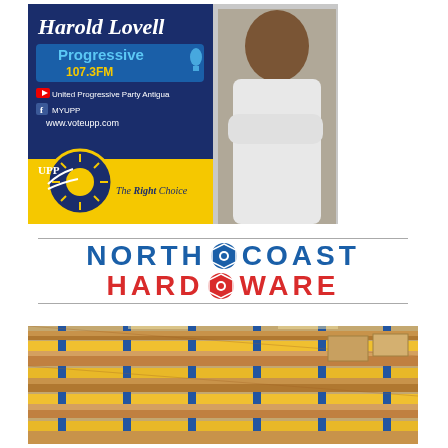[Figure (illustration): Harold Lovell political advertisement for United Progressive Party Antigua. Shows a man in white shirt with arms crossed. Features Progressive 107.3FM logo, YouTube and Facebook social media links, www.voteupp.com website, UPP sun logo, and tagline 'The Right Choice'. Navy blue and yellow color scheme.]
[Figure (logo): North Coast Hardware logo. Blue bold uppercase text 'NORTH COAST' with a nut/bolt icon between the words, and red bold uppercase text 'HARD WARE' below with a washer/nut icon between words. Thin gray horizontal lines above and below the text.]
[Figure (photo): Photo of a hardware store interior showing wooden lumber planks stacked on yellow and blue industrial shelving/racking units in a large warehouse-style store.]